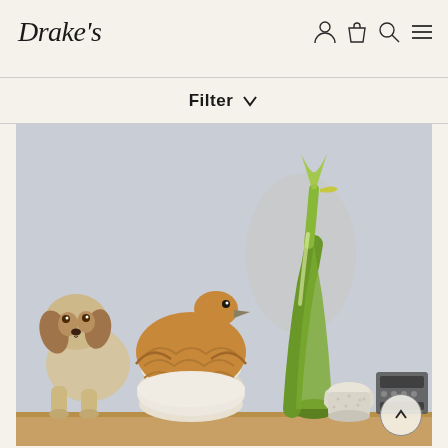Drake's
Filter ↓
[Figure (photo): A wooden shelf with decorative ceramic and glass animal figurines: a spaniel dog figurine on the left, a duck-shaped ceramic lidded dish in the center, a tall green art glass bird sculpture, a small matte ceramic cup, and a small electronic device partially visible on the right. Background is a pale grey wall.]